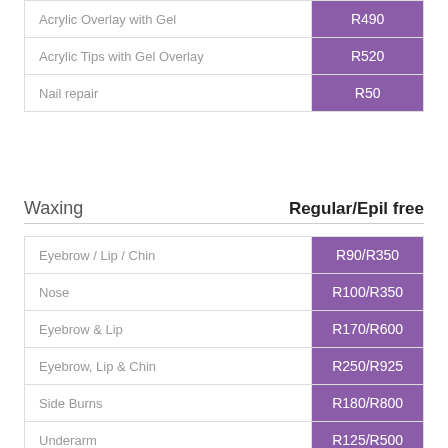| Service | Price |
| --- | --- |
| Acrylic Overlay with Gel | R490 |
| Acrylic Tips with Gel Overlay | R520 |
| Nail repair | R50 |
Waxing    Regular/Epil free
| Service | Regular/Epil free |
| --- | --- |
| Eyebrow / Lip / Chin | R90/R350 |
| Nose | R100/R350 |
| Eyebrow & Lip | R170/R600 |
| Eyebrow, Lip & Chin | R250/R925 |
| Side Burns | R180/R800 |
| Underarm | R125/R500 |